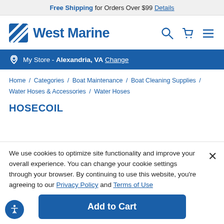Free Shipping for Orders Over $99 Details
[Figure (logo): West Marine logo with diagonal lines icon and blue text]
My Store - Alexandria, VA Change
Home / Categories / Boat Maintenance / Boat Cleaning Supplies / Water Hoses & Accessories / Water Hoses
HOSECOIL
We use cookies to optimize site functionality and improve your overall experience. You can change your cookie settings through your browser. By continuing to use this website, you're agreeing to our Privacy Policy and Terms of Use
Add to Cart